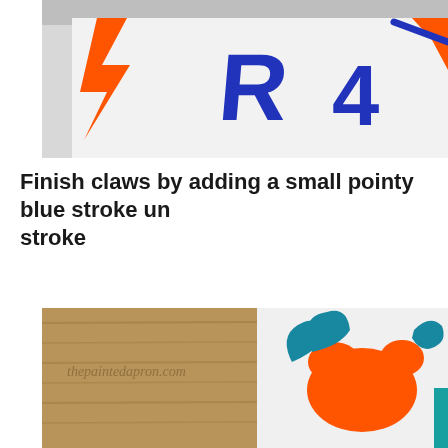[Figure (photo): Photo of paper with orange paint strokes and handwritten blue letters/numbers including 'R 4' on white background]
Finish claws by adding a small pointy blue stroke under each orange claw stroke
[Figure (photo): Photo of painting tutorial showing orange crab claws with blue teal strokes on white paper, placed on wooden surface with thepaintedapron.com watermark]
Privacy & Cookies: This site uses cookies. By continuing to use this website, you agree to their use.
To find out more, including how to control cookies, see here: Cookie Policy
Close and accept